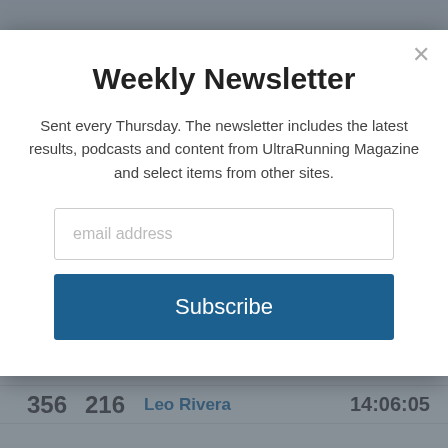Weekly Newsletter
Sent every Thursday. The newsletter includes the latest results, podcasts and content from UltraRunning Magazine and select items from other sites.
| Rank | Bib | Name / Category | Time |
| --- | --- | --- | --- |
| 354 | 214 | Joseph Haynes
M 40-49 | 14:00:05 |
| 355 | 215 | Kevin Price
M 50-59 | 14:05:19 |
| 356 | 216 | Leo Rivera | 14:06:05 |